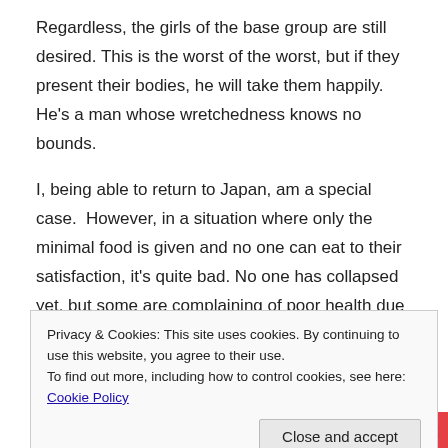Regardless, the girls of the base group are still desired. This is the worst of the worst, but if they present their bodies, he will take them happily. He's a man whose wretchedness knows no bounds.
I, being able to return to Japan, am a special case.  However, in a situation where only the minimal food is given and no one can eat to their satisfaction, it's quite bad. No one has collapsed yet, but some are complaining of poor health due to stress. Thanks to Himeno-san, physical problems are resolved. Metal problems are another issue.
Privacy & Cookies: This site uses cookies. By continuing to use this website, you agree to their use.
To find out more, including how to control cookies, see here: Cookie Policy
Close and accept
[Figure (other): Partial advertisement banner at the bottom with colorful gradient background and text 'START A NEW LIFE']